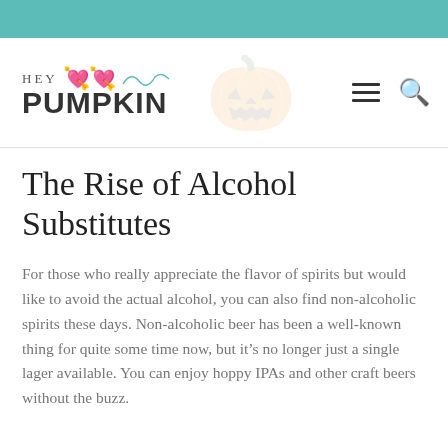[Figure (logo): Hey Pumpkin blog logo with teal decorative swirl between HEY and PUMPKIN text]
The Rise of Alcohol Substitutes
For those who really appreciate the flavor of spirits but would like to avoid the actual alcohol, you can also find non-alcoholic spirits these days. Non-alcoholic beer has been a well-known thing for quite some time now, but it’s no longer just a single lager available. You can enjoy hoppy IPAs and other craft beers without the buzz.